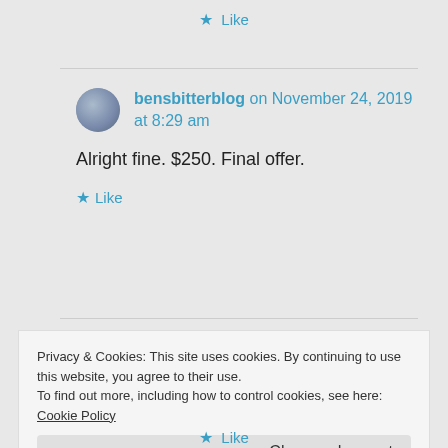★ Like
bensbitterblog on November 24, 2019 at 8:29 am
Alright fine. $250. Final offer.
★ Like
Privacy & Cookies: This site uses cookies. By continuing to use this website, you agree to their use.
To find out more, including how to control cookies, see here: Cookie Policy
Close and accept
★ Like